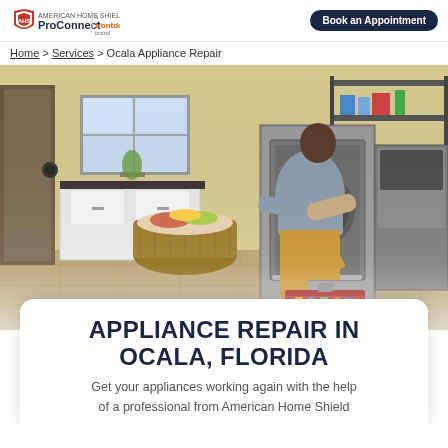American Home Shield ProConnect | a frontdoor brand | Book an Appointment
Home > Services > Ocala Appliance Repair
[Figure (photo): A technician crouching and working on a stainless steel appliance (dishwasher/refrigerator) in a laundry/utility room with white cabinets, a wicker basket with laundry, a toolbox on the floor, and shelving in the background.]
APPLIANCE REPAIR IN OCALA, FLORIDA
Get your appliances working again with the help of a professional from American Home Shield